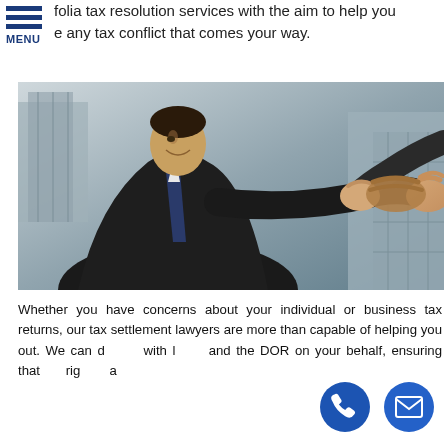folia tax resolution services with the aim to help you e any tax conflict that comes your way.
[Figure (photo): Two businessmen shaking hands outdoors in front of modern skyscrapers, shot from a low angle. One man is smiling and wearing a dark suit.]
Whether you have concerns about your individual or business tax returns, our tax settlement lawyers are more than capable of helping you out. We can d with l and the DOR on your behalf, ensuring that rig a